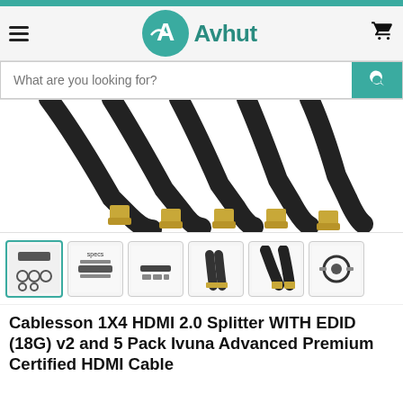Avhut
[Figure (photo): Multiple HDMI cable connectors with gold-tipped ends fanned out on white background]
[Figure (photo): Six product thumbnail images showing HDMI splitter and cables from different angles]
Cablesson 1X4 HDMI 2.0 Splitter WITH EDID (18G) v2 and 5 Pack Ivuna Advanced Premium Certified HDMI Cable